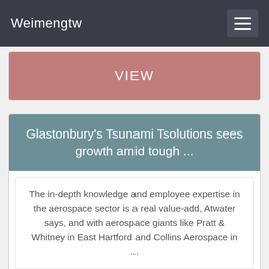Weimengtw
VIEW
Glastonbury's Tsunami Tsolutions sees growth amid tough ...
The in-depth knowledge and employee expertise in the aerospace sector is a real value-add, Atwater says, and with aerospace giants like Pratt & Whitney in East Hartford and Collins Aerospace in ...
VIEW